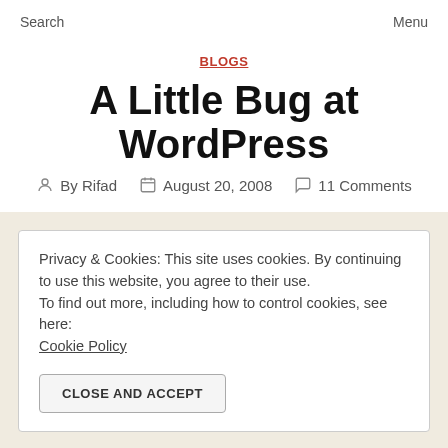Search    Menu
BLOGS
A Little Bug at WordPress
By Rifad    August 20, 2008    11 Comments
Privacy & Cookies: This site uses cookies. By continuing to use this website, you agree to their use.
To find out more, including how to control cookies, see here:
Cookie Policy
CLOSE AND ACCEPT
is shown at a DIV element, not a new pop-up